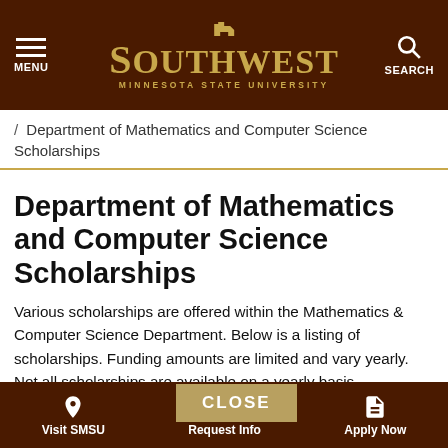MENU | SOUTHWEST MINNESOTA STATE UNIVERSITY | SEARCH
/ Department of Mathematics and Computer Science Scholarships
Department of Mathematics and Computer Science Scholarships
Various scholarships are offered within the Mathematics & Computer Science Department. Below is a listing of scholarships. Funding amounts are limited and vary yearly. Not all scholarships are available on a yearly basis. Scholarship applications are normally reviewed in spring semester for awards for the following academic year. Scholarship awards are disbursed through the SMSU Financial Aid office. For more information on scholarships or disbursement of funds, contact Financial Aid or SMSU Foundation.
Visit SMSU | Request Info | Apply Now